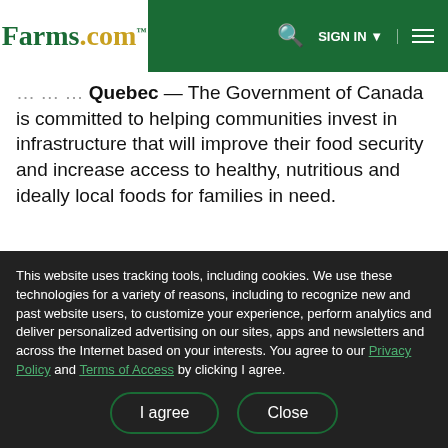Farms.com — navigation bar with logo, search, sign in, and menu
...Quebec — The Government of Canada is committed to helping communities invest in infrastructure that will improve their food security and increase access to healthy, nutritious and ideally local foods for families in need.
This website uses tracking tools, including cookies. We use these technologies for a variety of reasons, including to recognize new and past website users, to customize your experience, perform analytics and deliver personalized advertising on our sites, apps and newsletters and across the Internet based on your interests. You agree to our Privacy Policy and Terms of Access by clicking I agree.